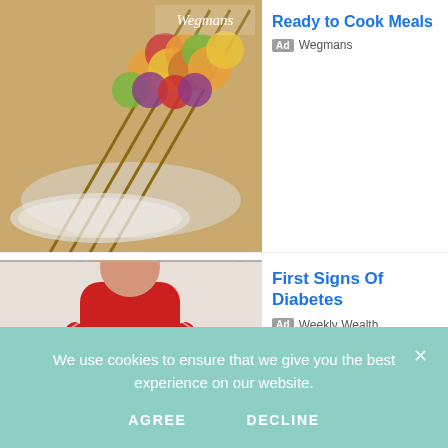[Figure (screenshot): Ad: food skewers/kebabs image with Wegmans logo, title 'Ready to Cook Meals', ad badge and Wegmans source]
[Figure (screenshot): Ad: close-up photo of a swollen foot on floor tiles, title 'First Signs Of Diabetes', ad badge and Weekly Wealth source]
[Figure (screenshot): Ad: person in red apron in kitchen, title 'Discover Chilean Salmon - Delicious Salmon Recipes']
We use cookies to ensure that we give you the best experience on our website.
AGREE
DECLINE